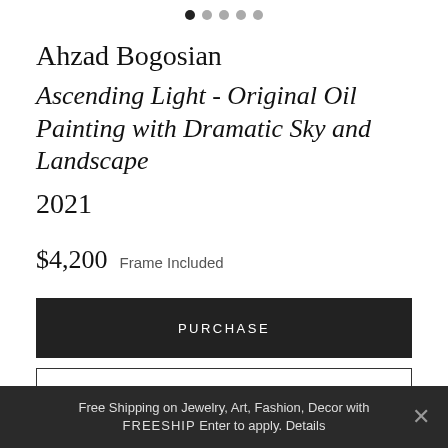[Figure (other): Pagination dots row with 5 dots, first dot filled/active]
Ahzad Bogosian
Ascending Light - Original Oil Painting with Dramatic Sky and Landscape
2021
$4,200  Frame Included
PURCHASE
MAKE AN OFFER
[Figure (other): Social sharing icons: Pinterest (P), Facebook (f), Email (envelope), each in a light circle border]
Free Shipping on Jewelry, Art, Fashion, Decor with ... FREESHIP Enter to apply. Details